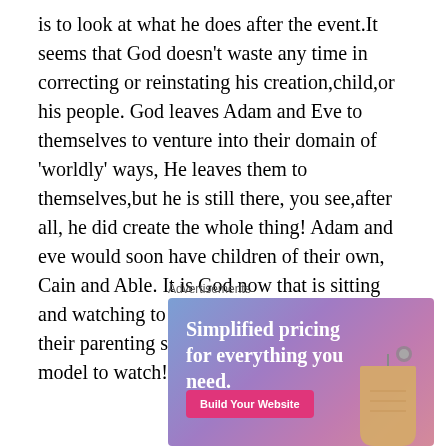is to look at what he does after the event.It seems that God doesn't waste any time in correcting or reinstating his creation,child,or his people. God leaves Adam and Eve to themselves to venture into their domain of 'worldly' ways, He leaves them to themselves,but he is still there, you see,after all, he did create the whole thing! Adam and eve would soon have children of their own, Cain and Able. It is God now that is sitting and watching to see how these parents do in their parenting skills. It seems that this is the model to watch!
Advertisements
[Figure (infographic): Advertisement banner with purple-pink gradient background. Text reads 'Simplified pricing for everything you need.' with a pink 'Build Your Website' button and a decorative price tag image.]